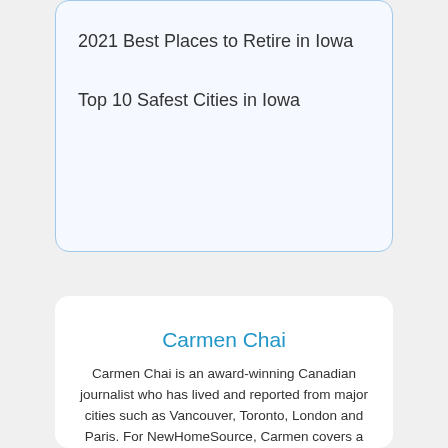2021 Best Places to Retire in Iowa
Top 10 Safest Cities in Iowa
[Figure (photo): Portrait photo of Carmen Chai, a woman with long hair]
Carmen Chai
Carmen Chai is an award-winning Canadian journalist who has lived and reported from major cities such as Vancouver, Toronto, London and Paris. For NewHomeSource, Carmen covers a variety of topics, including insurance, mortgages,